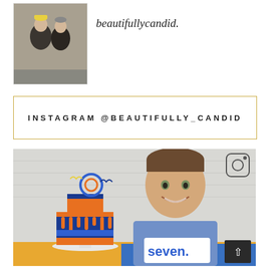[Figure (photo): Profile photo of two women standing outdoors in winter coats and hats]
beautifullycandid.
INSTAGRAM @BEAUTIFULLY_CANDID
[Figure (photo): A smiling boy wearing a 'seven.' t-shirt sitting in front of a birthday cake decorated in blue and orange]